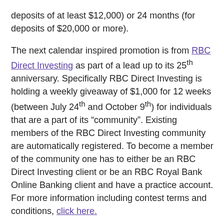deposits of at least $12,000) or 24 months (for deposits of $20,000 or more).
The next calendar inspired promotion is from RBC Direct Investing as part of a lead up to its 25th anniversary. Specifically RBC Direct Investing is holding a weekly giveaway of $1,000 for 12 weeks (between July 24th and October 9th) for individuals that are a part of its “community”. Existing members of the RBC Direct Investing community are automatically registered. To become a member of the community one has to either be an RBC Direct Investing client or be an RBC Royal Bank Online Banking client and have a practice account. For more information including contest terms and conditions, click here.